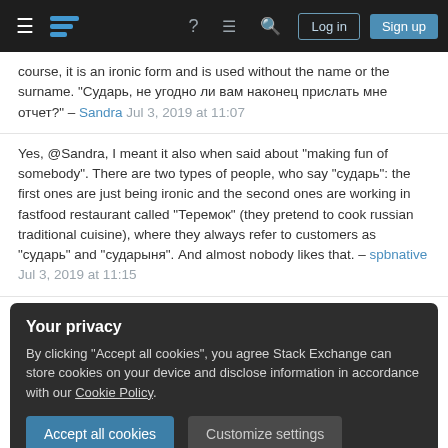Stack Exchange navigation bar with hamburger menu, logo, help, chat, search, Log in, Sign up
course, it is an ironic form and is used without the name or the surname. "Сударь, не угодно ли вам наконец прислать мне отчет?" – Sandra Jul 3, 2019 at 11:07
Yes, @Sandra, I meant it also when said about "making fun of somebody". There are two types of people, who say "сударь": the first ones are just being ironic and the second ones are working in fastfood restaurant called "Теремок" (they pretend to cook russian traditional cuisine), where they always refer to customers as "сударь" and "сударыня". And almost nobody likes that. – spbbnative Jul 3, 2019 at 11:15
Your privacy
By clicking "Accept all cookies", you agree Stack Exchange can store cookies on your device and disclose information in accordance with our Cookie Policy.
Accept all cookies
Customize settings